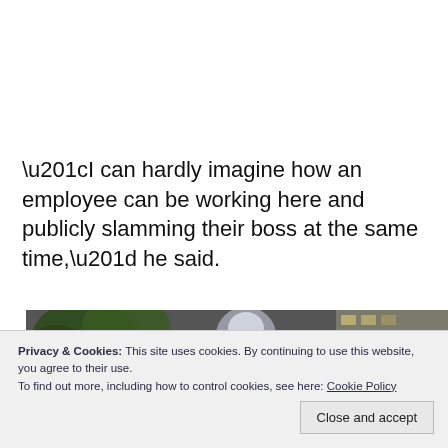“I can hardly imagine how an employee can be working here and publicly slamming their boss at the same time,” he said.
[Figure (photo): Partial view of a city/building nighttime or evening photo strip with trees and building facades visible]
Privacy & Cookies: This site uses cookies. By continuing to use this website, you agree to their use.
To find out more, including how to control cookies, see here: Cookie Policy
Close and accept